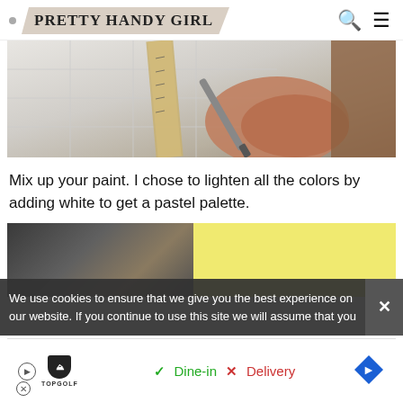PRETTY HANDY GIRL
[Figure (photo): Hand using a metal stylus/pencil along a ruler on a white textured surface with grid lines, appears to be marking foam or tile.]
Mix up your paint. I chose to lighten all the colors by adding white to get a pastel palette.
[Figure (photo): Two-panel image: left panel shows dark paint bottles/supplies, right panel shows a yellow background.]
We use cookies to ensure that we give you the best experience on our website. If you continue to use this site we will assume that you
[Figure (infographic): Advertisement banner for TopGolf showing Dine-in with checkmark and Delivery with X mark, with a blue diamond arrow navigation icon.]